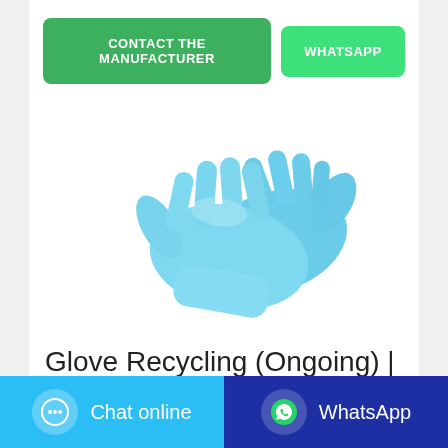[Figure (other): Two green action buttons: 'CONTACT THE MANUFACTURER' and 'WHATSAPP']
[Figure (photo): Two blue nitrile/latex disposable gloves overlapping on a white background]
Glove Recycling (Ongoing) |
iCAP Portal | University of
[Figure (other): Bottom bar with two buttons: 'Chat online' (light blue with chat bubble icon) and 'WhatsApp' (dark blue with WhatsApp icon)]